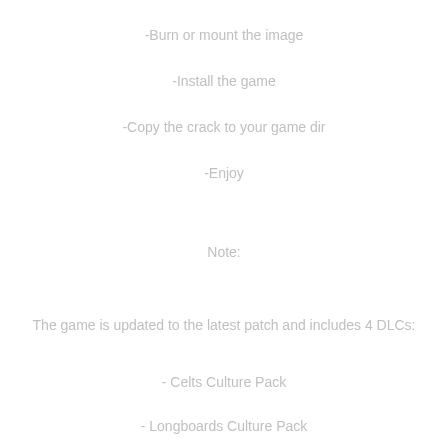-Burn or mount the image
-Install the game
-Copy the crack to your game dir
-Enjoy
Note:
The game is updated to the latest patch and includes 4 DLCs:
- Celts Culture Pack
- Longboards Culture Pack